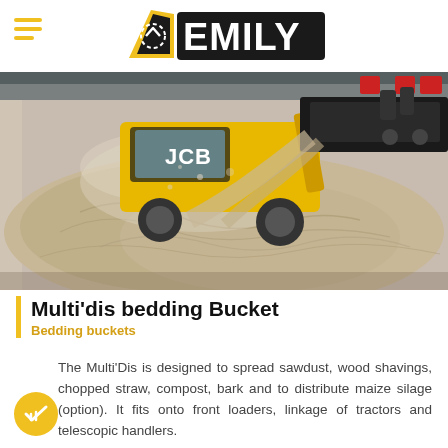EMILY (logo)
[Figure (photo): A JCB front loader tractor spreading a large pile of sawdust or wood shavings inside a farm building, with a black spreading bucket attachment visible in the upper right.]
Multi’dis bedding Bucket
Bedding buckets
The Multi’Dis is designed to spread sawdust, wood shavings, chopped straw, compost, bark and to distribute maize silage (option). It fits onto front loaders, linkage of tractors and telescopic handlers.